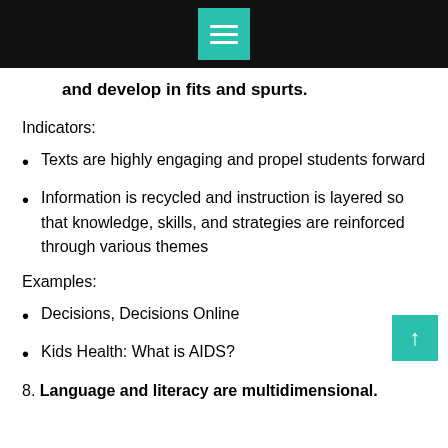[navigation menu bar]
and develop in fits and spurts.
Indicators:
Texts are highly engaging and propel students forward
Information is recycled and instruction is layered so that knowledge, skills, and strategies are reinforced through various themes
Examples:
Decisions, Decisions Online
Kids Health: What is AIDS?
8. Language and literacy are multidimensional.